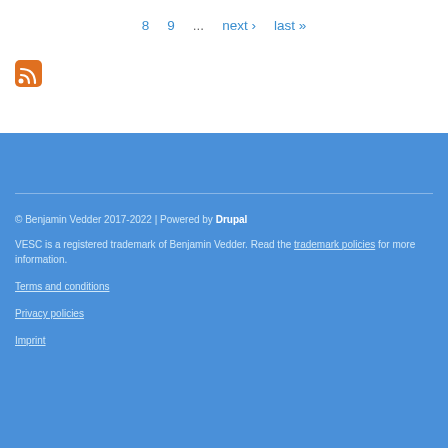8  9  ...  next ›  last »
[Figure (logo): RSS feed icon — orange rounded square with white RSS signal symbol]
© Benjamin Vedder 2017-2022 | Powered by Drupal
VESC is a registered trademark of Benjamin Vedder. Read the trademark policies for more information.
Terms and conditions
Privacy policies
Imprint